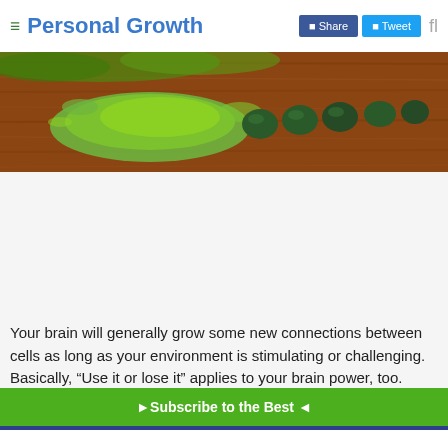Personal Growth | Share | Tweet
[Figure (photo): Green powder and spirulina tablets on a wooden surface]
Your brain will generally grow some new connections between cells as long as your environment is stimulating or challenging. Basically, “Use it or lose it” applies to your brain power, too.
► Subscribe to the Best ◄